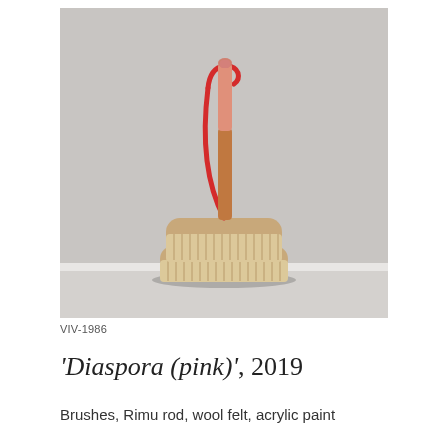[Figure (photo): Photograph of two wooden scrubbing brushes stacked on top of each other. A wooden rod (Rimu) rises vertically from the top brush, painted in two-tone orange and pink. A red cord or wool felt loops over the top of the rod and hangs down. The background is a plain light grey wall.]
VIV-1986
'Diaspora (pink)', 2019
Brushes, Rimu rod, wool felt, acrylic paint